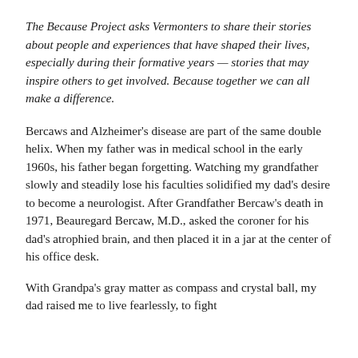The Because Project asks Vermonters to share their stories about people and experiences that have shaped their lives, especially during their formative years — stories that may inspire others to get involved. Because together we can all make a difference.
Bercaws and Alzheimer's disease are part of the same double helix. When my father was in medical school in the early 1960s, his father began forgetting. Watching my grandfather slowly and steadily lose his faculties solidified my dad's desire to become a neurologist. After Grandfather Bercaw's death in 1971, Beauregard Bercaw, M.D., asked the coroner for his dad's atrophied brain, and then placed it in a jar at the center of his office desk.
With Grandpa's gray matter as compass and crystal ball, my dad raised me to live fearlessly, to fight